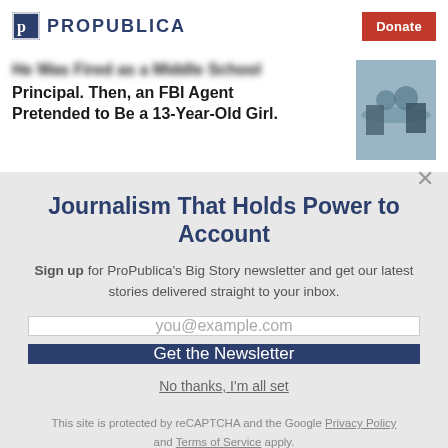ProPublica | Donate
Principal. Then, an FBI Agent Pretended to Be a 13-Year-Old Girl.
Journalism That Holds Power to Account
Sign up for ProPublica's Big Story newsletter and get our latest stories delivered straight to your inbox.
you@example.com
Get the Newsletter
No thanks, I'm all set
This site is protected by reCAPTCHA and the Google Privacy Policy and Terms of Service apply.